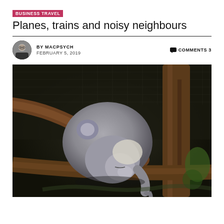BUSINESS TRAVEL
Planes, trains and noisy neighbours
BY MACPSYCH   COMMENTS 3
FEBRUARY 5, 2019
[Figure (photo): A koala sleeping on a tree branch, curled up with its head resting on the branch, photographed in a zoo or wildlife enclosure setting.]